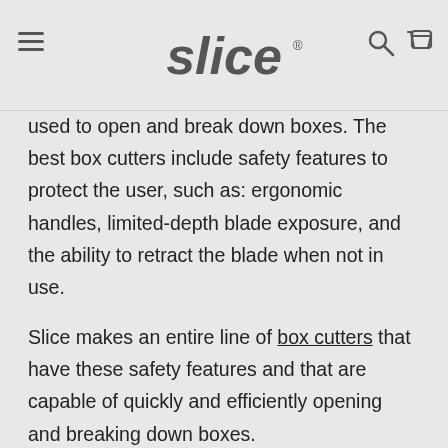slice
used to open and break down boxes. The best box cutters include safety features to protect the user, such as: ergonomic handles, limited-depth blade exposure, and the ability to retract the blade when not in use.
Slice makes an entire line of box cutters that have these safety features and that are capable of quickly and efficiently opening and breaking down boxes.
10400 Manual Box Cutter
10503 Auto-Retractable Box Cutter
10585 Manual Carton Cutter
10513 Manual Pen Cutter
10512 Auto-Retractable Pen Cutter